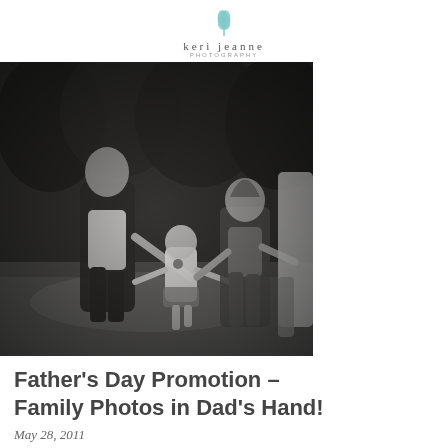keri jeanne photography
[Figure (photo): Black and white photograph of a family walking outdoors on grass, with trees in the background. A woman holds the hand of a toddler in the center, and an older girl holds the toddler's other hand, with a man partially visible on the right edge.]
Father's Day Promotion – Family Photos in Dad's Hand!
May 28, 2011
Filed in: Clients | ma family photographer | ma maternity photographer | ma newborn photographer |